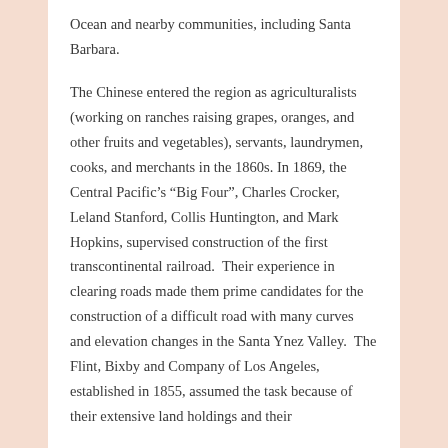Ocean and nearby communities, including Santa Barbara.

The Chinese entered the region as agriculturalists (working on ranches raising grapes, oranges, and other fruits and vegetables), servants, laundrymen, cooks, and merchants in the 1860s. In 1869, the Central Pacific’s “Big Four”, Charles Crocker, Leland Stanford, Collis Huntington, and Mark Hopkins, supervised construction of the first transcontinental railroad.  Their experience in clearing roads made them prime candidates for the construction of a difficult road with many curves and elevation changes in the Santa Ynez Valley.  The Flint, Bixby and Company of Los Angeles, established in 1855, assumed the task because of their extensive land holdings and their